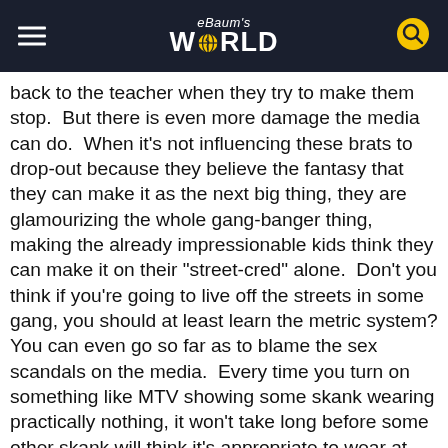eBaum's WORLD
back to the teacher when they try to make them stop.  But there is even more damage the media can do.  When it's not influencing these brats to drop-out because they believe the fantasy that they can make it as the next big thing, they are glamourizing the whole gang-banger thing, making the already impressionable kids think they can make it on their "street-cred" alone.  Don't you think if you're going to live off the streets in some gang, you should at least learn the metric system?
You can even go so far as to blame the sex scandals on the media.  Every time you turn on something like MTV showing some skank wearing practically nothing, it won't take long before some other skank will think it's appropriate to wear at school.  There would be a lot less pedophiles in the world if kids weren't dressing like complete whores!  But that in no way excuses the teachers, you would think that someone smart enough to earn a teaching degree would know better than sleeping with these sluts.